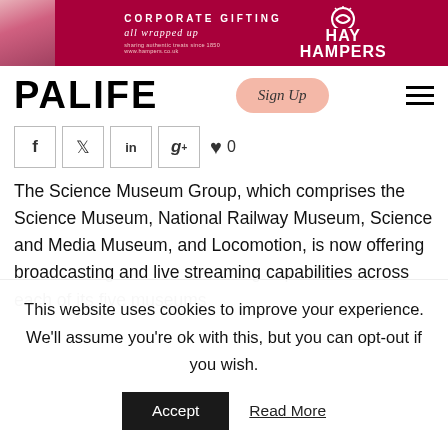[Figure (illustration): Advertisement banner for Hay Hampers: Corporate Gifting all wrapped up, with pink gift boxes on left, dark red/magenta background, Hay Hampers logo with sun icon on right]
PALIFE
[Figure (other): Sign Up button (peach/salmon rounded rectangle with cursive Sign Up text)]
[Figure (other): Hamburger menu icon (three horizontal black lines)]
[Figure (other): Social sharing buttons: Facebook (f), Twitter (bird/t), LinkedIn (in), Google+ (g+), Heart icon with count 0]
The Science Museum Group, which comprises the Science Museum, National Railway Museum, Science and Media Museum, and Locomotion, is now offering broadcasting and live streaming capabilities across each of its five museums
This website uses cookies to improve your experience. We'll assume you're ok with this, but you can opt-out if you wish.
Accept   Read More